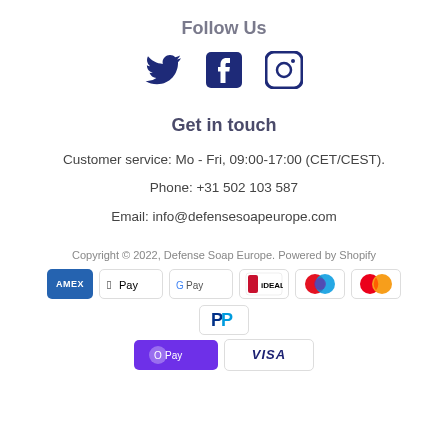Follow Us
[Figure (other): Social media icons: Twitter bird, Facebook F, Instagram camera outline, in dark navy blue]
Get in touch
Customer service: Mo - Fri, 09:00-17:00 (CET/CEST).
Phone: +31 502 103 587
Email: info@defensesoapeurope.com
Copyright © 2022, Defense Soap Europe. Powered by Shopify
[Figure (other): Payment method badges: Amex, Apple Pay, Google Pay, iDEAL, Maestro, Mastercard, PayPal, Shop Pay, Visa]